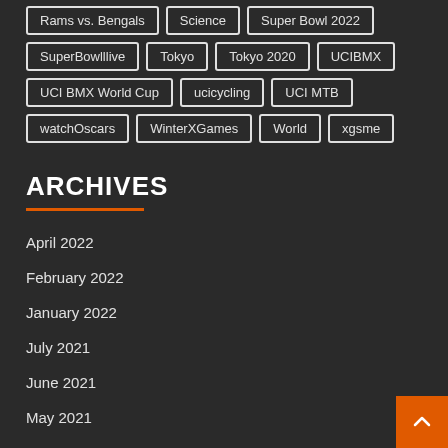Rams vs. Bengals
Science
Super Bowl 2022
SuperBowlllive
Tokyo
Tokyo 2020
UCIBMX
UCI BMX World Cup
ucicycling
UCI MTB
watchOscars
WinterXGames
World
xgsme
ARCHIVES
April 2022
February 2022
January 2022
July 2021
June 2021
May 2021